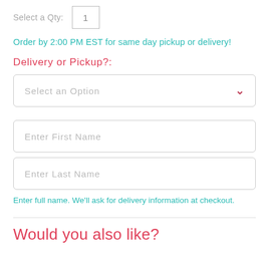Select a Qty: 1
Order by 2:00 PM EST for same day pickup or delivery!
Delivery or Pickup?:
Select an Option
Enter First Name
Enter Last Name
Enter full name. We'll ask for delivery information at checkout.
Would you also like?